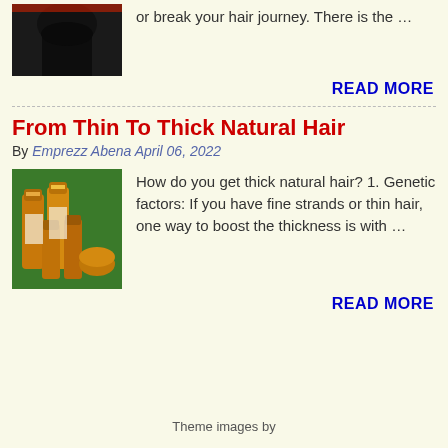[Figure (photo): Photo of a person with dark natural hair from behind]
or break your hair journey. There is the …
READ MORE
From Thin To Thick Natural Hair
By Emprezz Abena April 06, 2022
[Figure (photo): Photo of hair care product bottles arranged together with green background]
How do you get thick natural hair?  1. Genetic factors: If you have fine strands or thin hair, one way to boost the thickness is with …
READ MORE
Theme images by